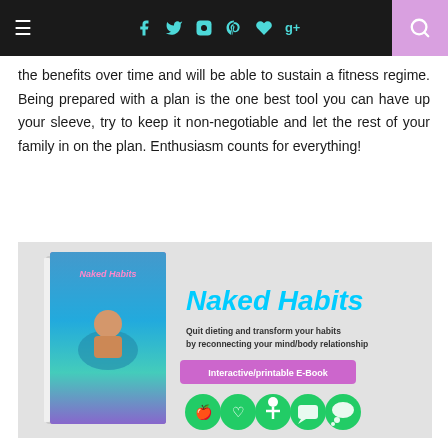Navigation bar with hamburger menu, social icons (Facebook, Twitter, Instagram, Pinterest, heart, Google+), and search button
the benefits over time and will be able to sustain a fitness regime. Being prepared with a plan is the one best tool you can have up your sleeve, try to keep it non-negotiable and let the rest of your family in on the plan. Enthusiasm counts for everything!
[Figure (illustration): Naked Habits book advertisement banner showing a book cover with a person at a pool, and text 'Naked Habits', 'Quit dieting and transform your habits by reconnecting your mind/body relationship', 'Interactive/printable E-Book', with five circular green icons below]